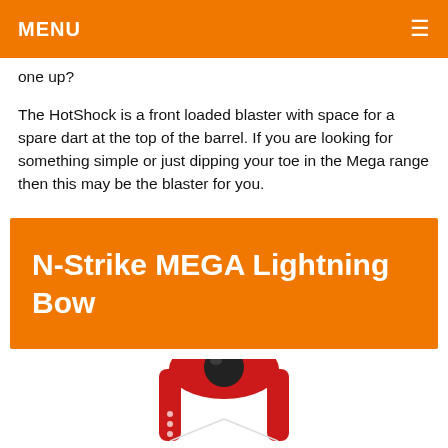MENU
one up?
The HotShock is a front loaded blaster with space for a spare dart at the top of the barrel. If you are looking for something simple or just dipping your toe in the Mega range then this may be the blaster for you.
N-Strike MEGA Lightning Bow
[Figure (photo): Bottom portion of a red bow-style Nerf blaster with a black spherical element visible at the top, partially cropped at the bottom of the page.]